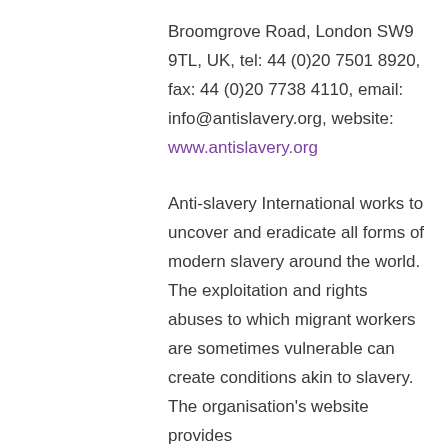Broomgrove Road, London SW9 9TL, UK, tel: 44 (0)20 7501 8920, fax: 44 (0)20 7738 4110, email: info@antislavery.org, website: www.antislavery.org
Anti-slavery International works to uncover and eradicate all forms of modern slavery around the world. The exploitation and rights abuses to which migrant workers are sometimes vulnerable can create conditions akin to slavery. The organisation's website provides